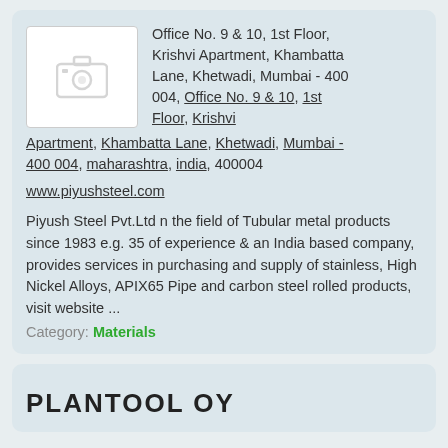[Figure (photo): Placeholder image with camera icon]
Office No. 9 & 10, 1st Floor, Krishvi Apartment, Khambatta Lane, Khetwadi, Mumbai - 400 004, Office No. 9 & 10, 1st Floor, Krishvi Apartment, Khambatta Lane, Khetwadi, Mumbai - 400 004, maharashtra, india, 400004
www.piyushsteel.com
Piyush Steel Pvt.Ltd n the field of Tubular metal products since 1983 e.g. 35 of experience & an India based company, provides services in purchasing and supply of stainless, High Nickel Alloys, APIX65 Pipe and carbon steel rolled products, visit website ...
Category: Materials
PLANTOOL OY